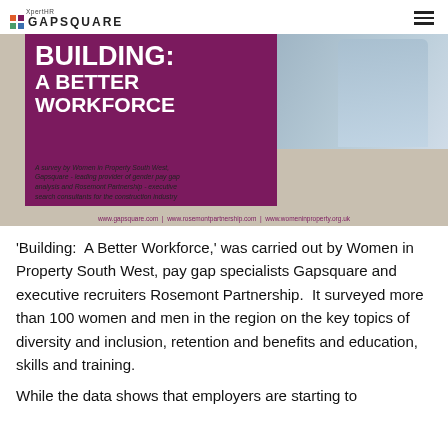XpertHR GAPSQUARE
[Figure (photo): Cover image of the 'Building: A Better Workforce' report. Shows a purple banner with white bold text reading 'BUILDING: A BETTER WORKFORCE', a background photo of a person in a blue shirt, and survey attribution text and URLs at the bottom.]
'Building:  A Better Workforce,' was carried out by Women in Property South West, pay gap specialists Gapsquare and executive recruiters Rosemont Partnership.  It surveyed more than 100 women and men in the region on the key topics of diversity and inclusion, retention and benefits and education, skills and training.
While the data shows that employers are starting to